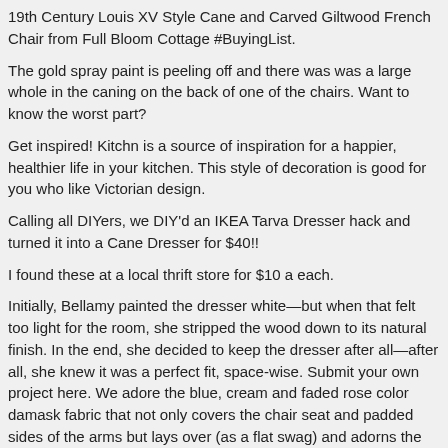19th Century Louis XV Style Cane and Carved Giltwood French Chair from Full Bloom Cottage #BuyingList.
The gold spray paint is peeling off and there was was a large whole in the caning on the back of one of the chairs. Want to know the worst part?
Get inspired! Kitchn is a source of inspiration for a happier, healthier life in your kitchen. This style of decoration is good for you who like Victorian design.
Calling all DIYers, we DIY'd an IKEA Tarva Dresser hack and turned it into a Cane Dresser for $40!!
I found these at a local thrift store for $10 a each.
Initially, Bellamy painted the dresser white—but when that felt too light for the room, she stripped the wood down to its natural finish. In the end, she decided to keep the dresser after all—after all, she knew it was a perfect fit, space-wise. Submit your own project here. We adore the blue, cream and faded rose color damask fabric that not only covers the chair seat and padded sides of the arms but lays over (as a flat swag) and adorns the top of…, Regency style armchair.